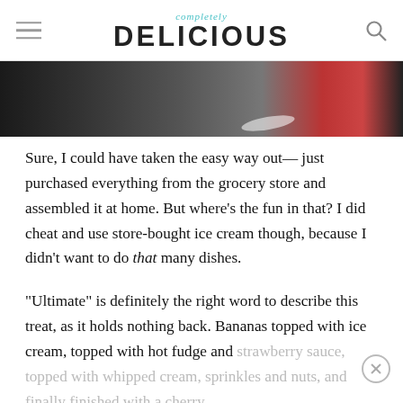completely DELICIOUS
[Figure (photo): Partial food photo strip showing dark background with red and white elements, likely a banana split dessert]
Sure, I could have taken the easy way out— just purchased everything from the grocery store and assembled it at home. But where's the fun in that? I did cheat and use store-bought ice cream though, because I didn't want to do that many dishes.
“Ultimate” is definitely the right word to describe this treat, as it holds nothing back. Bananas topped with ice cream, topped with hot fudge and strawberry sauce, topped with whipped cream, sprinkles and nuts, and finally finished with a cherry.